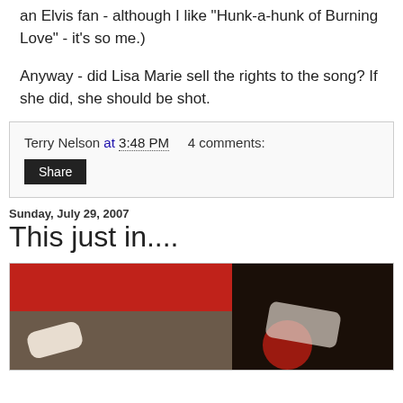an Elvis fan - although I like "Hunk-a-hunk of Burning Love" - it's so me.)
Anyway - did Lisa Marie sell the rights to the song? If she did, she should be shot.
Terry Nelson at 3:48 PM   4 comments:
Share
Sunday, July 29, 2007
This just in....
[Figure (photo): Photo showing people, one wearing a red jacket, appearing to be lying down or leaning, dark background]